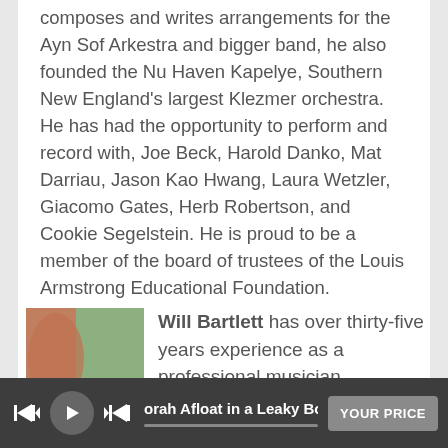composes and writes arrangements for the Ayn Sof Arkestra and bigger band, he also founded the Nu Haven Kapelye, Southern New England's largest Klezmer orchestra. He has had the opportunity to perform and record with, Joe Beck, Harold Danko, Mat Darriau, Jason Kao Hwang, Laura Wetzler, Giacomo Gates, Herb Robertson, and Cookie Segelstein. He is proud to be a member of the board of trustees of the Louis Armstrong Educational Foundation.
[Figure (photo): Photo of Will Bartlett, partial view showing trees and what appears to be a musical instrument]
Will Bartlett has over thirty-five years experience as a professional musician,
orah Afloat in a Leaky Boat La    YOUR PRICE